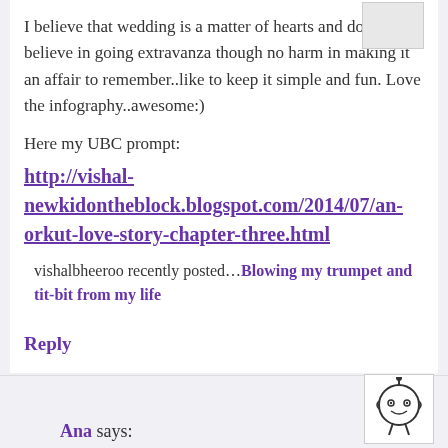I believe that wedding is a matter of hearts and do not believe in going extravanza though no harm in making it an affair to remember..like to keep it simple and fun. Love the infography..awesome:)
Here my UBC prompt:
http://vishal-newkidontheblock.blogspot.com/2014/07/an-orkut-love-story-chapter-three.html
vishalbheeroo recently posted…Blowing my trumpet and tit-bit from my life
Reply
Ana says: